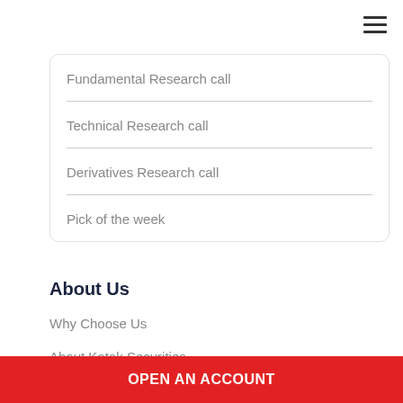Fundamental Research call
Technical Research call
Derivatives Research call
Pick of the week
About Us
Why Choose Us
About Kotak Securities
About Kotak Group
OPEN AN ACCOUNT